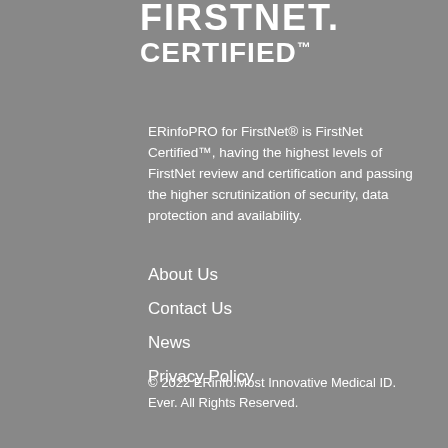FIRSTNET. CERTIFIED™
ERinfoPRO for FirstNet® is FirstNet Certified™, having the highest levels of FirstNet review and certification and passing the higher scrutinization of security, data protection and availability.
About Us
Contact Us
News
Privacy Policy
© 2022 ERinfo.Most Innovative Medical ID. Ever. All Rights Reserved.